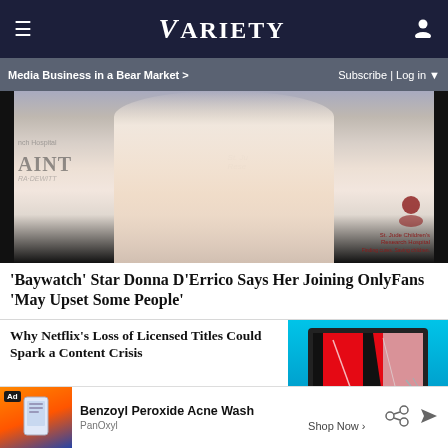Variety
Media Business in a Bear Market >   Subscribe | Log in
[Figure (photo): Blonde woman in white low-cut top at an event with St. Jude Children's Research Hospital banner in background]
'Baywatch' Star Donna D'Errico Says Her Joining OnlyFans 'May Upset Some People'
Why Netflix's Loss of Licensed Titles Could Spark a Content Crisis
[Figure (photo): Netflix logo on a cracked monitor screen with teal background]
Ad  Benzoyl Peroxide Acne Wash  PanOxyl  Shop Now >